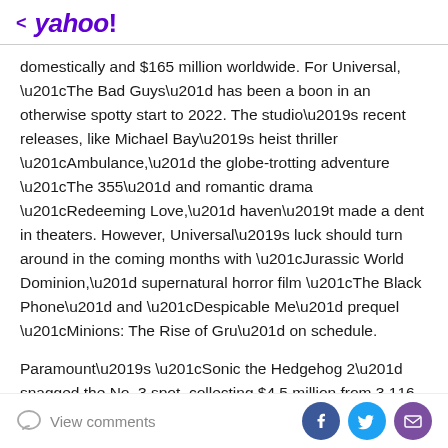< yahoo!
domestically and $165 million worldwide. For Universal, “The Bad Guys” has been a boon in an otherwise spotty start to 2022. The studio’s recent releases, like Michael Bay’s heist thriller “Ambulance,” the globe-trotting adventure “The 355” and romantic drama “Redeeming Love,” haven’t made a dent in theaters. However, Universal’s luck should turn around in the coming months with “Jurassic World Dominion,” supernatural horror film “The Black Phone” and “Despicable Me” prequel “Minions: The Rise of Gru” on schedule.
Paramount’s “Sonic the Hedgehog 2” snagged the No. 3 spot, collecting $4.5 million from 3,116 screens in its sixth weekend in theaters. To date, the “Sonic” follow-up has
View comments